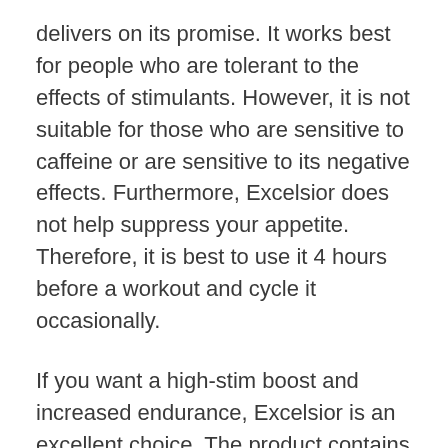delivers on its promise. It works best for people who are tolerant to the effects of stimulants. However, it is not suitable for those who are sensitive to caffeine or are sensitive to its negative effects. Furthermore, Excelsior does not help suppress your appetite. Therefore, it is best to use it 4 hours before a workout and cycle it occasionally.
If you want a high-stim boost and increased endurance, Excelsior is an excellent choice. The product contains caffeine and should be taken according to the directions. Children should avoid using it, as it contains caffeine. Nevertheless, it is safe for everyone and is worth the price. So, try Excelsior today! It's a great choice for anyone who wants to improve their physical performance and